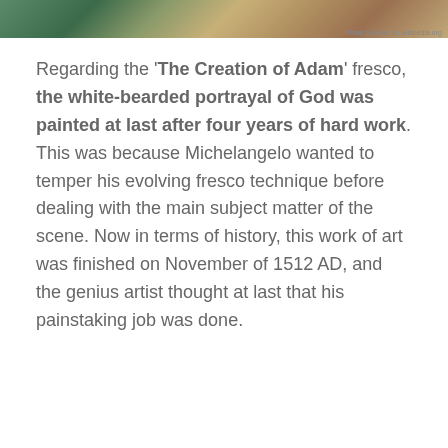[Figure (photo): Top portion of a fresco painting (The Creation of Adam), partially cropped, with a photo credit watermark reading 'Photo Source: en.wikipedia.org']
Regarding the 'The Creation of Adam' fresco, the white-bearded portrayal of God was painted at last after four years of hard work. This was because Michelangelo wanted to temper his evolving fresco technique before dealing with the main subject matter of the scene. Now in terms of history, this work of art was finished on November of 1512 AD, and the genius artist thought at last that his painstaking job was done.